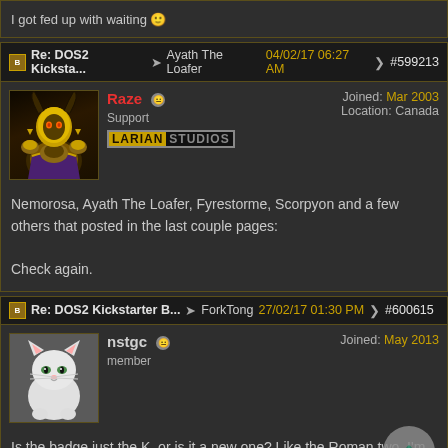I got fed up with waiting 🙂
Re: DOS2 Kicksta... Ayath The Loafer 04/02/17 06:27 AM #599213
Raze
Support
LARIAN STUDIOS
Joined: Mar 2003
Location: Canada
Nemorosa, Ayath The Loafer, Fyrestorme, Scorpyon and a few others that posted in the last couple pages:

Check again.
Re: DOS2 Kickstarter B... ForkTong 27/02/17 01:30 PM #600615
nstgc
member
Joined: May 2013
Is the badge just the K, or is it a new one? Like the Roman two, I'm seeing?